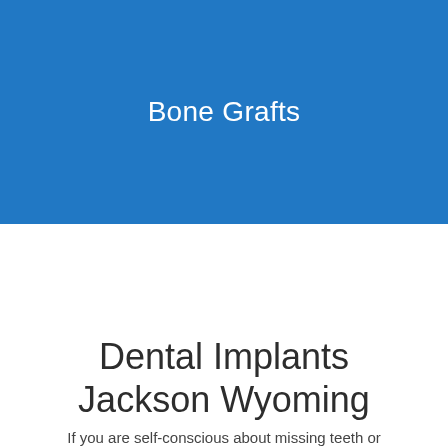Bone Grafts
Dental Implants Jackson Wyoming
If you are self-conscious about missing teeth or